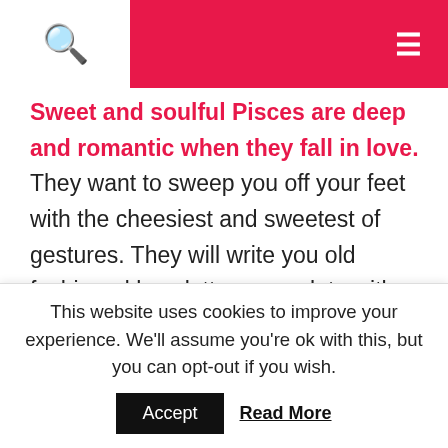Sweet and soulful Pisces are deep and romantic when they fall in love. They want to sweep you off your feet with the cheesiest and sweetest of gestures. They will write you old fashioned love letters complete with haikus and poetry. They will give you flowers and invite you to candlelit dinners to make you swoon.
When a Pisces Man falls in love, the person of his interest becomes his muse. He will create beautiful art for the person he wants. He will write you poetry or
This website uses cookies to improve your experience. We'll assume you're ok with this, but you can opt-out if you wish. Accept Read More